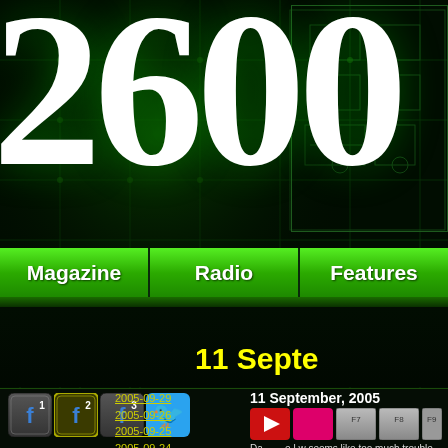[Figure (screenshot): 2600 Magazine website screenshot showing the large '2600' title in white on dark background with green circuit board imagery, navigation bar with Magazine/Radio/Features tabs, yellow date heading '11 Septe...', social media icons (Facebook f1/f2/f3, Twitter), date links (2005-09-26, 2005-09-25, 2005-09-24), and article section with '11 September, 2005' heading and media buttons]
2600
Magazine | Radio | Features
11 September, 2005
2005-09-26
2005-09-25
2005-09-24
seems like too much trouble. The available and you really have to k order to get them. Plus they're ex